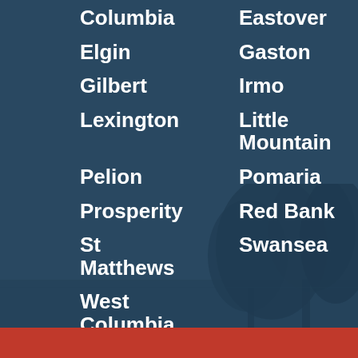Columbia
Eastover
Elgin
Gaston
Gilbert
Irmo
Lexington
Little Mountain
Pelion
Pomaria
Prosperity
Red Bank
St Matthews
Swansea
West Columbia